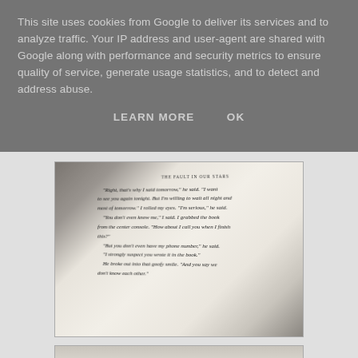This site uses cookies from Google to deliver its services and to analyze traffic. Your IP address and user-agent are shared with Google along with performance and security metrics to ensure quality of service, generate usage statistics, and to detect and address abuse.
LEARN MORE   OK
[Figure (photo): A photograph of an open book showing a page from 'The Fault in Our Stars'. The page shows italic and regular text with dialogue including: 'Right, that's why I said tomorrow,' he said. 'I want to see you again tonight. But I'm willing to wait all night and most of tomorrow.' I rolled my eyes. 'I'm serious,' he said. 'You don't even know me,' I said. I grabbed the book from the center console. 'How about I call you when I finish this?' 'But you don't even have my phone number,' he said. 'I strongly suspect you wrote it in the book.' He broke out into that goofy smile. 'And you say we don't know each other.']
[Figure (photo): A partially visible photograph of another book page, only the top portion is visible.]